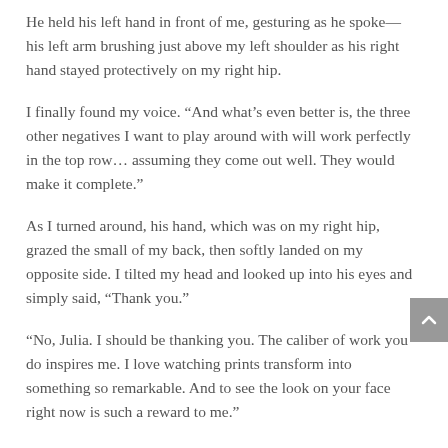He held his left hand in front of me, gesturing as he spoke—his left arm brushing just above my left shoulder as his right hand stayed protectively on my right hip.
I finally found my voice.  “And what’s even better is, the three other negatives I want to play around with will work perfectly in the top row… assuming they come out well.  They would make it complete.”
As I turned around, his hand, which was on my right hip, grazed the small of my back, then softly landed on my opposite side.  I tilted my head and looked up into his eyes and simply said, “Thank you.”
“No, Julia.  I should be thanking you.  The caliber of work you do inspires me.  I love watching prints transform into something so remarkable.  And to see the look on your face right now is such a reward to me.”